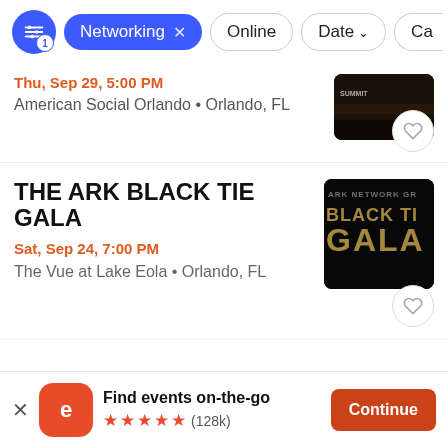Networking × | Online | Date ↓ | Ca...
Thu, Sep 29, 5:00 PM
American Social Orlando • Orlando, FL
THE ARK BLACK TIE GALA
Sat, Sep 24, 7:00 PM
The Vue at Lake Eola • Orlando, FL
Find events on-the-go ★★★★★ (128k)